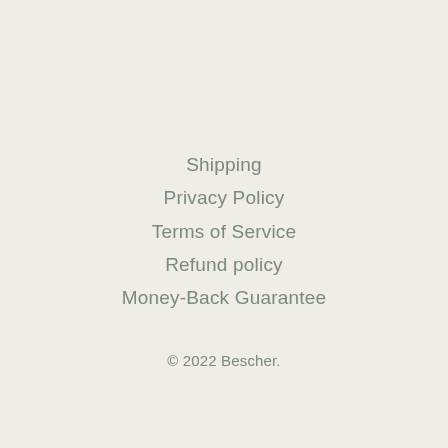Shipping
Privacy Policy
Terms of Service
Refund policy
Money-Back Guarantee
© 2022 Bescher.